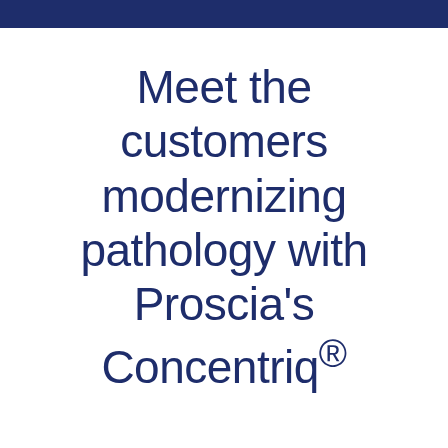Meet the customers modernizing pathology with Proscia's Concentriq®